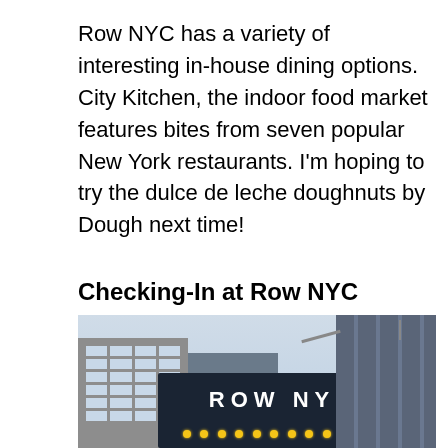Row NYC has a variety of interesting in-house dining options. City Kitchen, the indoor food market features bites from seven popular New York restaurants. I'm hoping to try the dulce de leche doughnuts by Dough next time!
Checking-In at Row NYC
[Figure (photo): Exterior photo of Row NYC hotel showing the illuminated ROW NYC marquee sign with light bulbs, flanked by tall buildings in New York City. A residential building is visible to the left and a glass curtain-wall building to the right.]